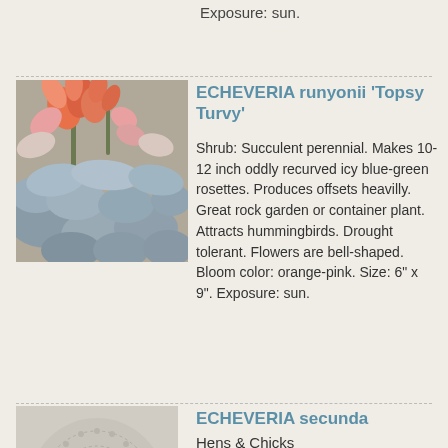Exposure: sun.
[Figure (photo): Photo of Echeveria runyonii 'Topsy Turvy' showing orange-pink bell-shaped flowers and icy blue-green recurved rosettes]
ECHEVERIA runyonii 'Topsy Turvy'
Shrub: Succulent perennial. Makes 10-12 inch oddly recurved icy blue-green rosettes. Produces offsets heavilly. Great rock garden or container plant. Attracts hummingbirds. Drought tolerant. Flowers are bell-shaped. Bloom color: orange-pink. Size: 6" x 9". Exposure: sun.
[Figure (photo): Partial photo of Echeveria secunda (Hens & Chicks) showing grey-green succulent rosette from above]
ECHEVERIA secunda
Hens & Chicks